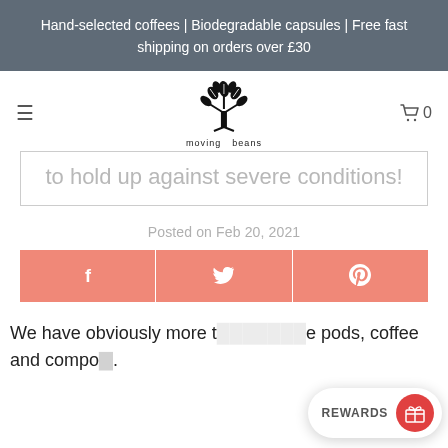Hand-selected coffees | Biodegradable capsules | Free fast shipping on orders over £30
[Figure (logo): Moving Beans logo: a tree made of coffee beans with text 'moving beans' below]
to hold up against severe conditions!
Posted on Feb 20, 2021
[Figure (infographic): Three salmon/coral colored social share buttons: Facebook (f), Twitter (bird), Pinterest (p)]
We have obviously more than coffee pods, coffee and compo...